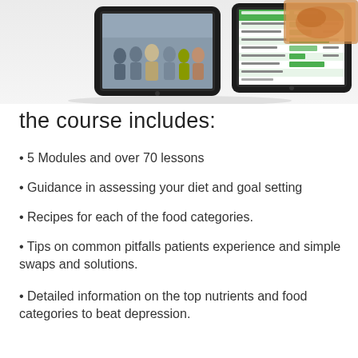[Figure (photo): Two tablet devices showing course content: left tablet displays a group photo of people, right tablet displays a green spreadsheet or tracking document interface]
the course includes:
5 Modules and over 70 lessons
Guidance in assessing your diet and goal setting
Recipes for each of the food categories.
Tips on common pitfalls patients experience and simple swaps and solutions.
Detailed information on the top nutrients and food categories to beat depression.